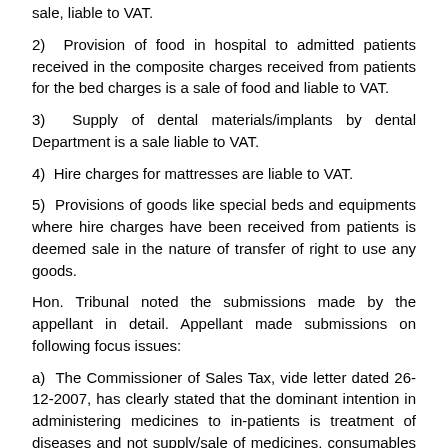sale, liable to VAT.
2) Provision of food in hospital to admitted patients received in the composite charges received from patients for the bed charges is a sale of food and liable to VAT.
3) Supply of dental materials/implants by dental Department is a sale liable to VAT.
4) Hire charges for mattresses are liable to VAT.
5) Provisions of goods like special beds and equipments where hire charges have been received from patients is deemed sale in the nature of transfer of right to use any goods.
Hon. Tribunal noted the submissions made by the appellant in detail. Appellant made submissions on following focus issues:
a) The Commissioner of Sales Tax, vide letter dated 26-12-2007, has clearly stated that the dominant intention in administering medicines to in-patients is treatment of diseases and not supply/sale of medicines, consumables or implants.
b) The Sales Tax Department has further issued Circular No. 7A of 2008 dated 13-3-2008, wherein also, following BSNL (145 STC 91)(SC), same position is reiterated.